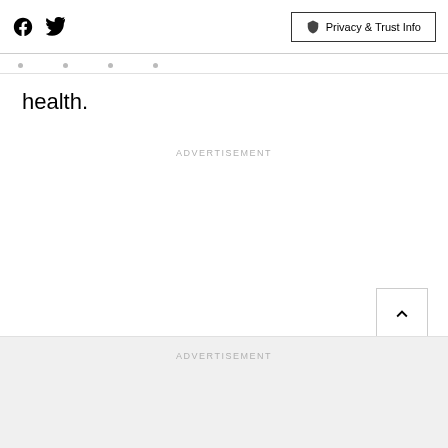Social icons (Facebook, Twitter) | Privacy & Trust Info button
health.
ADVERTISEMENT
ADVERTISEMENT